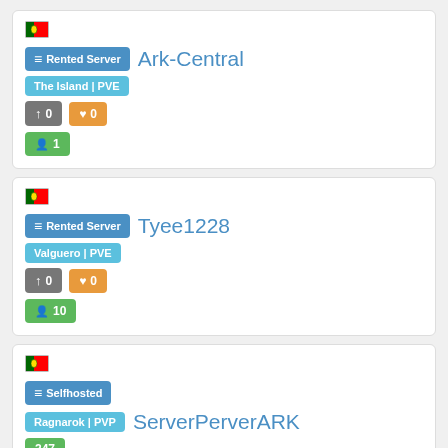Ark-Central | Rented Server | The Island | PVE | 0 up | 0 hearts | 1 user
Tyee1228 | Rented Server | Valguero | PVE | 0 up | 0 hearts | 10 users
ServerPerverARK | Selfhosted | Ragnarok | PVP | 247 ping | 50 Mbit or above | 0 up | 0 hearts